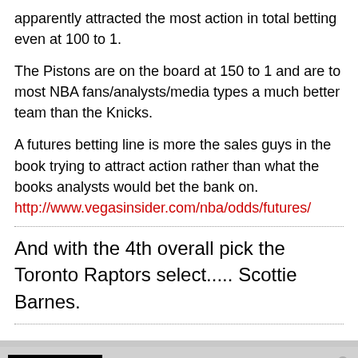apparently attracted the most action in total betting even at 100 to 1.
The Pistons are on the board at 150 to 1 and are to most NBA fans/analysts/media types a much better team than the Knicks.
A futures betting line is more the sales guys in the book trying to attract action rather than what the books analysts would bet the bank on.
http://www.vegasinsider.com/nba/odds/futures/
And with the 4th overall pick the Toronto Raptors select..... Scottie Barnes.
rocwell
Raptors Republic Icon
Join Date: Mar 2013  Posts: 24349
Tue Nov 1, 2016, 11:13 PM    #11